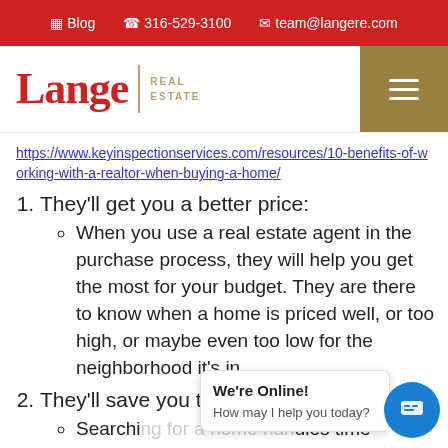Blog  316-529-3100  team@langere.com
[Figure (logo): Lange Real Estate logo with red Lange text, gold divider, and gold REAL ESTATE text]
https://www.keyinspectionservices.com/resources/10-benefits-of-working-with-a-realtor-when-buying-a-home/
1. They'll get you a better price:
When you use a real estate agent in the purchase process, they will help you get the most for your budget. They are there to know when a home is priced well, or too high, or maybe even too low for the neighborhood it's in.
2. They'll save you time
Searching for a home handles time-consuming tasks. An agent understands the specifics of what you're